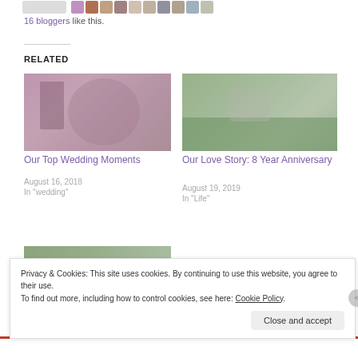16 bloggers like this.
RELATED
[Figure (photo): Photo of a woman in a leopard print dress at a wedding event]
Our Top Wedding Moments
August 16, 2018
In "wedding"
[Figure (photo): Photo of a couple leaning on a wooden fence in a rural setting]
Our Love Story: 8 Year Anniversary
August 19, 2019
In "Life"
[Figure (photo): Partial photo of a road or landscape with trees]
Privacy & Cookies: This site uses cookies. By continuing to use this website, you agree to their use. To find out more, including how to control cookies, see here: Cookie Policy